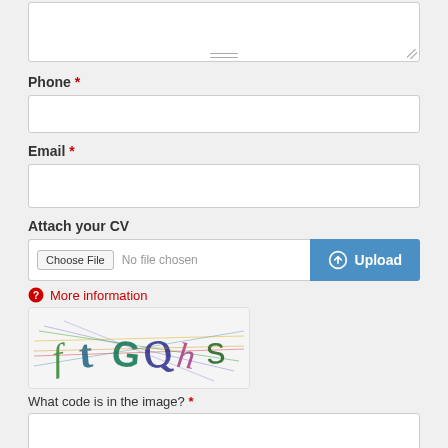[Figure (screenshot): Textarea stub (top of page, partially visible)]
Phone *
[Figure (screenshot): Phone input text box]
Email *
[Figure (screenshot): Email input text box]
Attach your CV
[Figure (screenshot): File upload row with Choose File button, No file chosen text, and Upload button]
More information
[Figure (other): CAPTCHA image showing distorted characters: fGQns]
What code is in the image? *
[Figure (screenshot): CAPTCHA answer input text box]